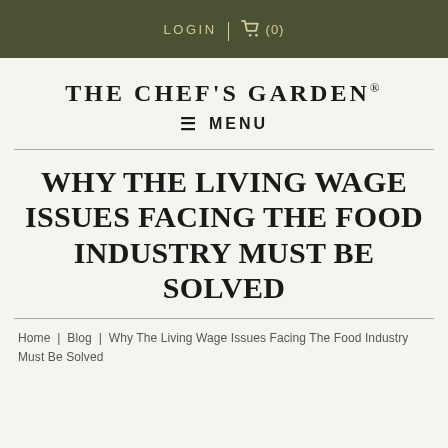LOGIN | (0)
THE CHEF'S GARDEN®
≡ MENU
WHY THE LIVING WAGE ISSUES FACING THE FOOD INDUSTRY MUST BE SOLVED
Home | Blog | Why The Living Wage Issues Facing The Food Industry Must Be Solved